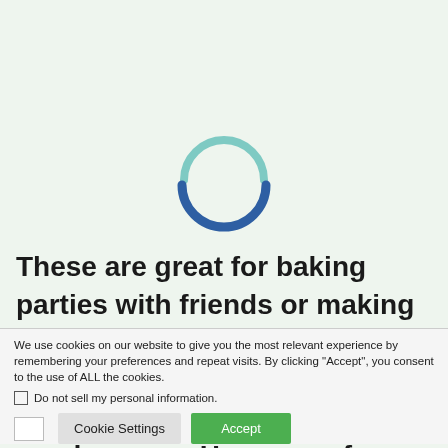[Figure (other): Circular loading spinner with two arc segments: a light blue arc on top and a dark navy/blue arc on the bottom, indicating a page loading state.]
These are great for baking parties with friends or making with kiddos. Once the dough is prepared, anyone can roll these out and shape them into candy canes. Here are a few other cookie recipes you might want to make with loved ones:
We use cookies on our website to give you the most relevant experience by remembering your preferences and repeat visits. By clicking "Accept", you consent to the use of ALL the cookies.
Do not sell my personal information.
Cookie Settings
Accept